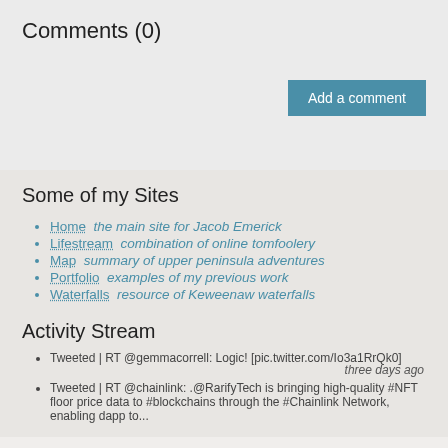Comments (0)
Add a comment
Some of my Sites
Home  the main site for Jacob Emerick
Lifestream  combination of online tomfoolery
Map  summary of upper peninsula adventures
Portfolio  examples of my previous work
Waterfalls  resource of Keweenaw waterfalls
Activity Stream
Tweeted | RT @gemmacorrell: Logic! [pic.twitter.com/Io3a1RrQk0]
three days ago
Tweeted | RT @chainlink: .@RarifyTech is bringing high-quality #NFT floor price data to #blockchains through the #Chainlink Network, enabling dapp to...